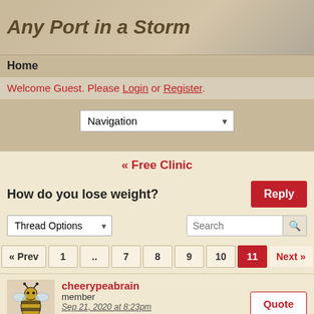Any Port in a Storm
Home
Welcome Guest. Please Login or Register.
Navigation
« Free Clinic
How do you lose weight?
Thread Options
Search
« Prev  1  ..  7  8  9  10  11  Next »
cheerypeabrain
member
Sep 21, 2020 at 8:23pm